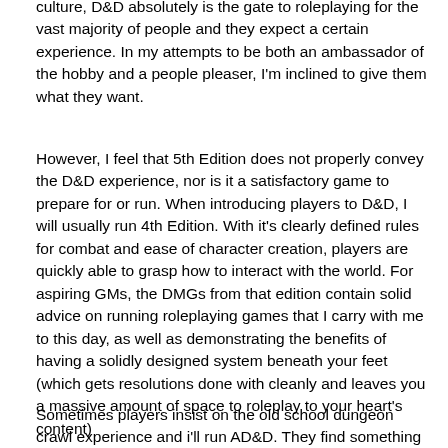culture, D&D absolutely is the gate to roleplaying for the vast majority of people and they expect a certain experience. In my attempts to be both an ambassador of the hobby and a people pleaser, I'm inclined to give them what they want.
However, I feel that 5th Edition does not properly convey the D&D experience, nor is it a satisfactory game to prepare for or run. When introducing players to D&D, I will usually run 4th Edition. With it's clearly defined rules for combat and ease of character creation, players are quickly able to grasp how to interact with the world. For aspiring GMs, the DMGs from that edition contain solid advice on running roleplaying games that I carry with me to this day, as well as demonstrating the benefits of having a solidly designed system beneath your feet (which gets resolutions done with cleanly and leaves you a massive amount of space to roleplay to your heart's content)
Sometimes players insist on the old school dungeon crawl experience and i'll run AD&D. They find something